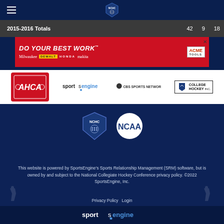NCHC navigation bar with hamburger menu and NCHC logo
|  | 42 | 9 | 18 |
| --- | --- | --- | --- |
| 2015-2016 Totals | 42 | 9 | 18 |
[Figure (advertisement): DO YOUR BEST WORK advertisement with Milwaukee, DeWalt, Honda, Makita, and Acme Tools logos on red background]
[Figure (logo): Partner logos row: AHCA, SportsEngine, CBS Sports Network, College Hockey Inc.]
[Figure (logo): NCHC shield logo and NCAA circle logo in dark blue footer section]
This website is powered by SportsEngine's Sports Relationship Management (SRM) software, but is owned by and subject to the National Collegiate Hockey Conference privacy policy. ©2022 SportsEngine, Inc.
Privacy Policy   Login
sportsengine